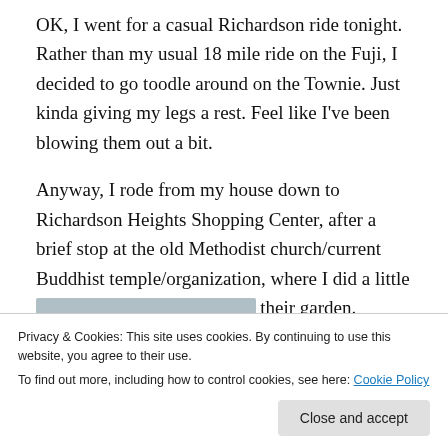OK, I went for a casual Richardson ride tonight. Rather than my usual 18 mile ride on the Fuji, I decided to go toodle around on the Townie. Just kinda giving my legs a rest. Feel like I've been blowing them out a bit.
Anyway, I rode from my house down to Richardson Heights Shopping Center, after a brief stop at the old Methodist church/current Buddhist temple/organization, where I did a little deep breathing-meditation in their garden.
[Figure (photo): Partially visible blurred/greyed photo stub at the bottom of the main content area]
Privacy & Cookies: This site uses cookies. By continuing to use this website, you agree to their use.
To find out more, including how to control cookies, see here: Cookie Policy
Close and accept